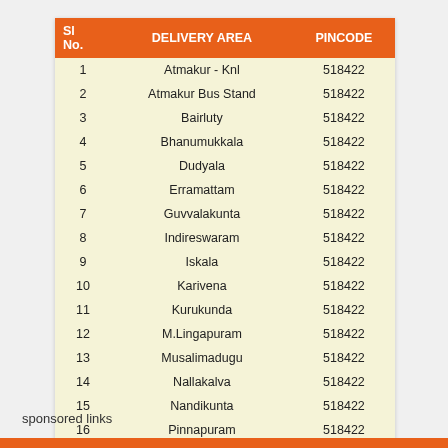| Sl No. | DELIVERY AREA | PINCODE |
| --- | --- | --- |
| 1 | Atmakur - Knl | 518422 |
| 2 | Atmakur Bus Stand | 518422 |
| 3 | Bairluty | 518422 |
| 4 | Bhanumukkala | 518422 |
| 5 | Dudyala | 518422 |
| 6 | Erramattam | 518422 |
| 7 | Guvvalakunta | 518422 |
| 8 | Indireswaram | 518422 |
| 9 | Iskala | 518422 |
| 10 | Karivena | 518422 |
| 11 | Kurukunda | 518422 |
| 12 | M.Lingapuram | 518422 |
| 13 | Musalimadugu | 518422 |
| 14 | Nallakalva | 518422 |
| 15 | Nandikunta | 518422 |
| 16 | Pinnapuram | 518422 |
| 17 | Sivapuram | 518422 |
| 18 | Vadlaramapuram | 518422 |
sponsored links